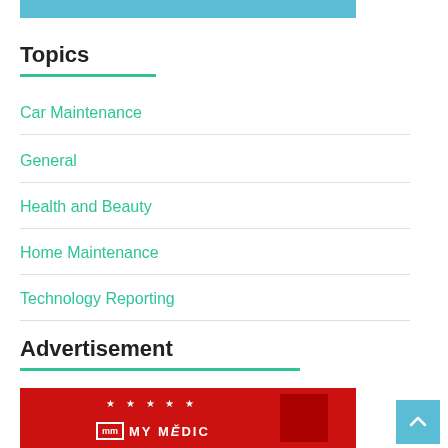[Figure (other): Top blue banner/image strip]
Topics
Car Maintenance
General
Health and Beauty
Home Maintenance
Technology Reporting
Advertisement
[Figure (photo): Red advertisement banner with MY MEDIC logo and stars]